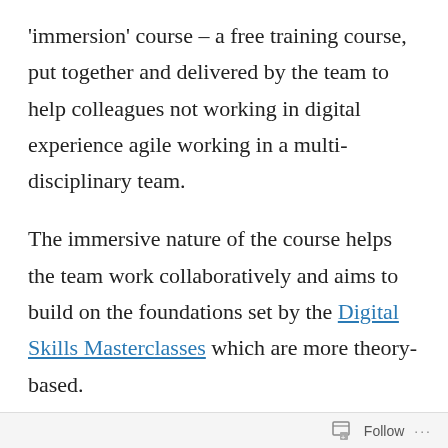'immersion' course – a free training course, put together and delivered by the team to help colleagues not working in digital experience agile working in a multi-disciplinary team.
The immersive nature of the course helps the team work collaboratively and aims to build on the foundations set by the Digital Skills Masterclasses which are more theory-based.
During the course, the group apply agile techniques and rituals to projects they've
Follow ···